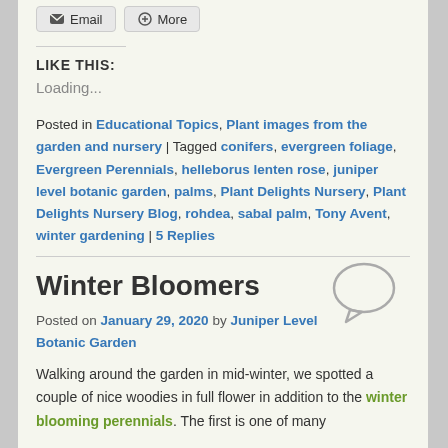[Figure (other): Email and More share buttons at top of blog post]
LIKE THIS:
Loading...
Posted in Educational Topics, Plant images from the garden and nursery | Tagged conifers, evergreen foliage, Evergreen Perennials, helleborus lenten rose, juniper level botanic garden, palms, Plant Delights Nursery, Plant Delights Nursery Blog, rohdea, sabal palm, Tony Avent, winter gardening | 5 Replies
Winter Bloomers
Posted on January 29, 2020 by Juniper Level Botanic Garden
Walking around the garden in mid-winter, we spotted a couple of nice woodies in full flower in addition to the winter blooming perennials. The first is one of many